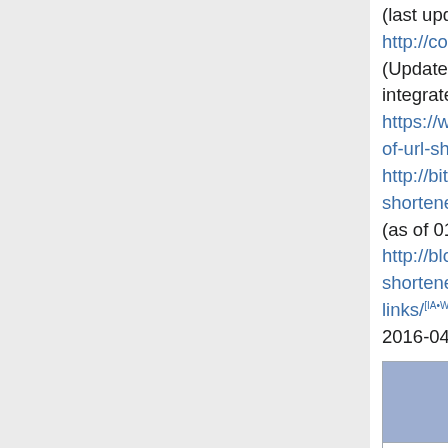(last updated 2009-08-14), http://code.google.com/p/shortenurl/wiki/UR (Updated 2011-05-19; not fully integrated yet), https://www.hashtags.org/platforms/twitter/list-of-url-shorteners/[IA•Wcite•.today•MemWeb], http://bit.do/list-of-url-shorteners.php[IA•Wcite•.today•MemWeb] (as of 01:49, 2016-02-10 (EST)), http://blogtimenow.com/free-lists/free-url-shortener-services-shrink-links/[IA•Wcite•.today•MemWeb] (as of 03:08, 2016-04-29 (EDT))
| Shortener | Last Checked on |
| --- | --- |
| 0x0.st | 2019-03-29 |